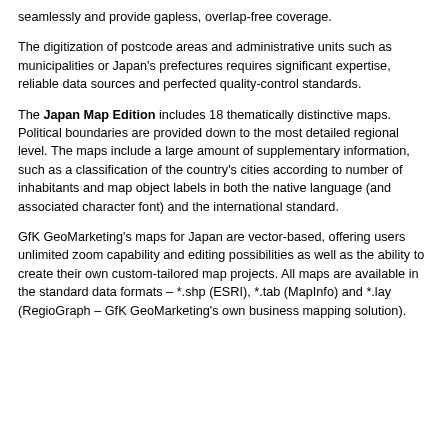seamlessly and provide gapless, overlap-free coverage.
The digitization of postcode areas and administrative units such as municipalities or Japan's prefectures requires significant expertise, reliable data sources and perfected quality-control standards.
The Japan Map Edition includes 18 thematically distinctive maps. Political boundaries are provided down to the most detailed regional level. The maps include a large amount of supplementary information, such as a classification of the country's cities according to number of inhabitants and map object labels in both the native language (and associated character font) and the international standard.
GfK GeoMarketing's maps for Japan are vector-based, offering users unlimited zoom capability and editing possibilities as well as the ability to create their own custom-tailored map projects. All maps are available in the standard data formats – *.shp (ESRI), *.tab (MapInfo) and *.lay (RegioGraph – GfK GeoMarketing's own business mapping solution).